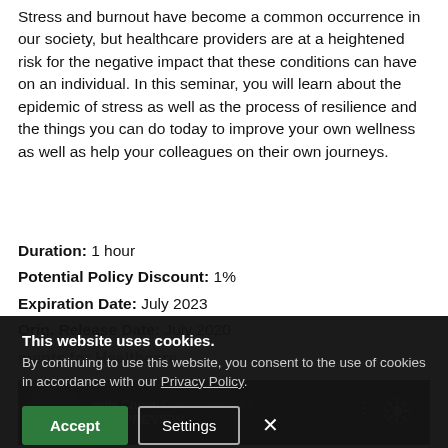Stress and burnout have become a common occurrence in our society, but healthcare providers are at a heightened risk for the negative impact that these conditions can have on an individual. In this seminar, you will learn about the epidemic of stress as well as the process of resilience and the things you can do today to improve your own wellness as well as help your colleagues on their own journeys.
Duration: 1 hour
Potential Policy Discount: 1%
Expiration Date: July 2023
Orig. Release Date: July 2020
ments for Healthcare
[Figure (screenshot): Cookie consent banner overlay on dark background with Accept and Settings buttons and a close X button. Behind it is a partial view of a healthcare video player.]